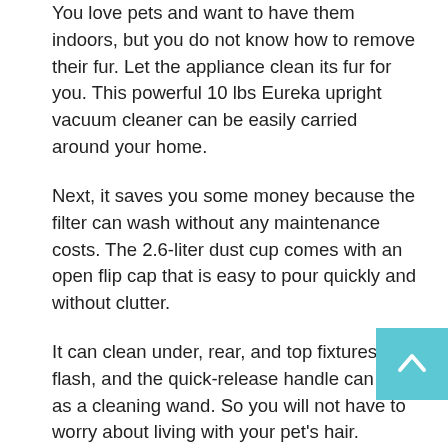You love pets and want to have them indoors, but you do not know how to remove their fur. Let the appliance clean its fur for you. This powerful 10 lbs Eureka upright vacuum cleaner can be easily carried around your home.
Next, it saves you some money because the filter can wash without any maintenance costs. The 2.6-liter dust cup comes with an open flip cap that is easy to pour quickly and without clutter.
It can clean under, rear, and top fixtures in a flash, and the quick-release handle can act as a cleaning wand. So you will not have to worry about living with your pet's hair.
Key features: